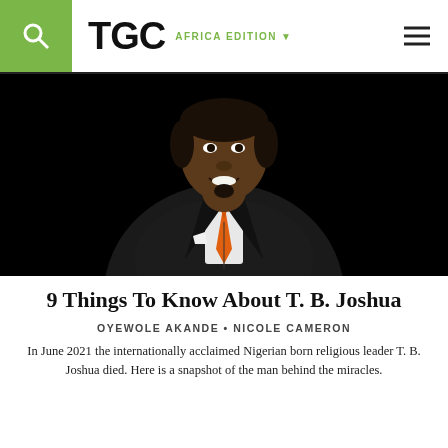TGC AFRICA EDITION
[Figure (photo): Portrait of T. B. Joshua, a Nigerian religious leader, smiling, wearing a black suit with an orange tie and white pocket square, against a dark background.]
9 Things To Know About T. B. Joshua
OYEWOLE AKANDE • NICOLE CAMERON
In June 2021 the internationally acclaimed Nigerian born religious leader T. B. Joshua died. Here is a snapshot of the man behind the miracles.